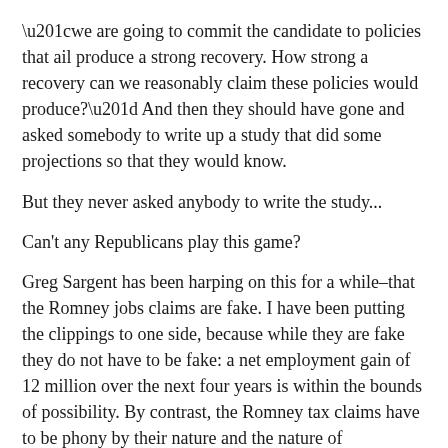“we are going to commit the candidate to policies that ail produce a strong recovery. How strong a recovery can we reasonably claim these policies would produce?” And then they should have gone and asked somebody to write up a study that did some projections so that they would know.
But they never asked anybody to write the study...
Can’t any Republicans play this game?
Greg Sargent has been harping on this for a while–that the Romney jobs claims are fake. I have been putting the clippings to one side, because while they are fake they do not have to be fake: a net employment gain of 12 million over the next four years is within the bounds of possibility. By contrast, the Romney tax claims have to be phony by their nature and the nature of arithmetic...
Dana Milbank:
Romney’s facts are curious things: Mitt Romney has done a